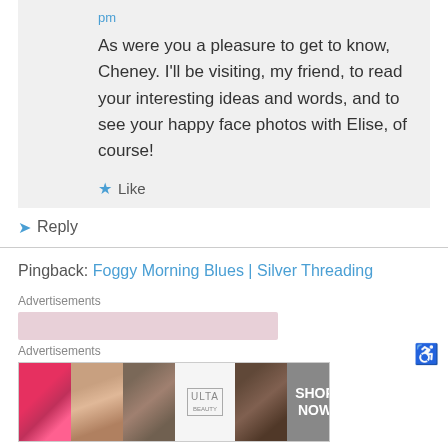pm
As were you a pleasure to get to know, Cheney. I’ll be visiting, my friend, to read your interesting ideas and words, and to see your happy face photos with Elise, of course!
★ Like
➤ Reply
Pingback: Foggy Morning Blues | Silver Threading
Advertisements
[Figure (screenshot): Pink/blurred advertisement placeholder bar]
Advertisements
[Figure (screenshot): Ulta Beauty advertisement banner showing makeup images with SHOP NOW button]